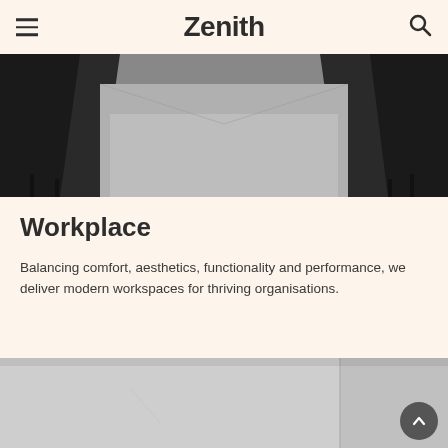Zenith
[Figure (photo): Black and white photo of an office space showing office chairs on a carpeted floor, viewed from floor level]
Workplace
Balancing comfort, aesthetics, functionality and performance, we deliver modern workspaces for thriving organisations.
[Figure (photo): Light grey interior photo showing white/grey walls and partitions of a modern workspace]